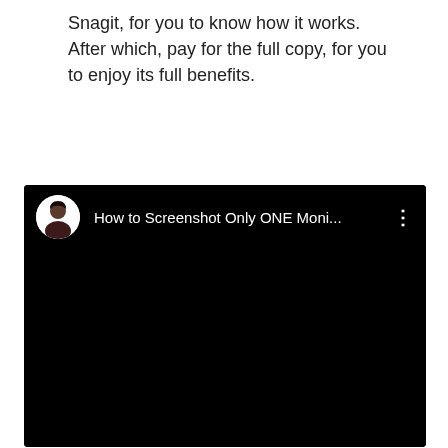Snagit, for you to know how it works. After which, pay for the full copy, for you to enjoy its full benefits.
[Figure (screenshot): A dark video player UI showing a YouTube-style video card with a circular avatar on the left, a video title 'How to Screenshot Only ONE Moni...' in white text, and a three-dot menu icon on the right. The video content area is entirely black.]